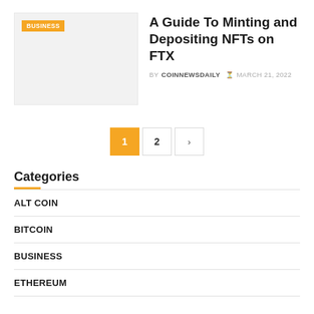[Figure (photo): Thumbnail image placeholder with light grey background and orange BUSINESS badge label in top-left corner]
A Guide To Minting and Depositing NFTs on FTX
BY COINNEWSDAILY  MARCH 21, 2022
1  2  >
Categories
ALT COIN
BITCOIN
BUSINESS
ETHEREUM